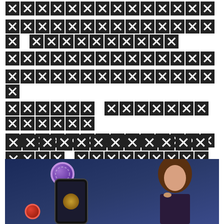[redacted text block - multiple lines of redacted content]
[redacted section header]
[Figure (photo): Woman with long brown hair holding her chin, casino chips and a smartphone with casino app visible, dark blue background]